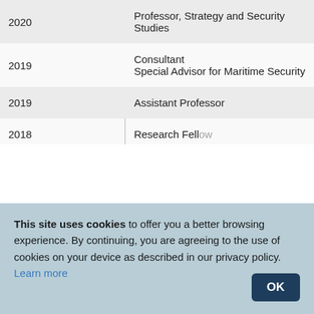| Year | Role |
| --- | --- |
| 2020 | Professor, Strategy and Security Studies |
| 2019 | Consultant
Special Advisor for Maritime Security |
| 2019 | Assistant Professor |
| 2018 | Research Fellow |
This site uses cookies to offer you a better browsing experience. By continuing, you are agreeing to the use of cookies on your device as described in our privacy policy. Learn more